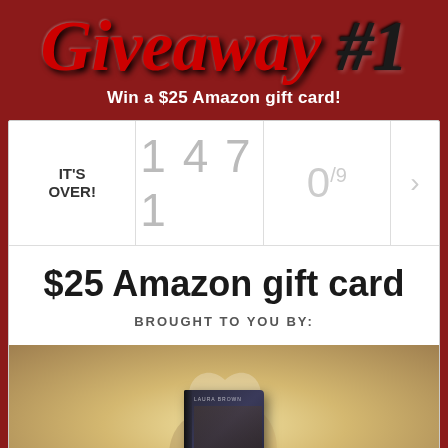Giveaway #1
Win a $25 Amazon gift card!
| Status | Entries | Slots |
| --- | --- | --- |
| IT'S OVER! | 1471 | 0/9 |
$25 Amazon gift card
BROUGHT TO YOU BY:
[Figure (illustration): Book cover shown against a warm golden background with a romantic couple making a heart shape with their hands]